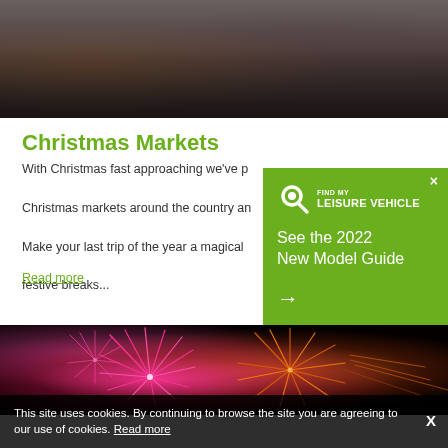[Figure (photo): Photo of people at a Christmas market, crowd of shoppers in front of stalls with decorations and merchandise]
Christmas Markets
With Christmas fast approaching we've put together a guide to the best Christmas markets around the country and how to get there by motorhome. Make your last trip of the year a magical one with our guide to the best festive breaks...
Read more
[Figure (infographic): Green advertisement overlay for Find My Leisure Vehicle showing logo and 'See the 2022 New Model Guide' with arrow]
[Figure (photo): Fireworks display photo showing colourful pink and orange fireworks against a dark night sky]
This site uses cookies. By continuing to browse the site you are agreeing to our use of cookies. Read more